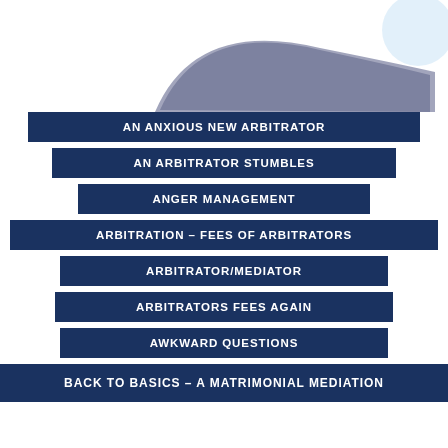[Figure (illustration): Abstract mountain/wave shape in muted purple-grey tone with a light blue circle element in the upper right corner, serving as decorative header graphic]
AN ANXIOUS NEW ARBITRATOR
AN ARBITRATOR STUMBLES
ANGER MANAGEMENT
ARBITRATION – FEES OF ARBITRATORS
ARBITRATOR/MEDIATOR
ARBITRATORS FEES AGAIN
AWKWARD QUESTIONS
BACK TO BASICS – A MATRIMONIAL MEDIATION